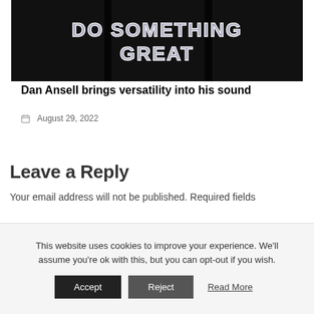[Figure (photo): Dark background photo showing neon sign text 'DO SOMETHING GREAT' in white neon lights on a black wall with windows]
Dan Ansell brings versatility into his sound
August 29, 2022
Leave a Reply
Your email address will not be published. Required fields
This website uses cookies to improve your experience. We'll assume you're ok with this, but you can opt-out if you wish.